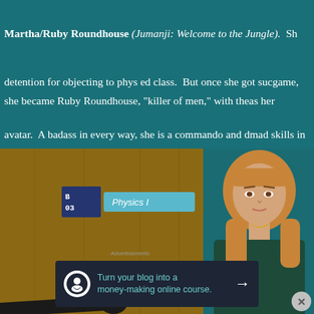Martha/Ruby Roundhouse (Jumanji: Welcome to the Jungle). She got detention for objecting to phys ed class. But once she got sucked into the game, she became Ruby Roundhouse, "killer of men," with the Rock as her avatar. A badass in every way, she is a commando and dancer with mad skills in all sorts of martial arts. Just keep her away from venom — her weakness.
[Figure (photo): Movie still from Jumanji: Welcome to the Jungle showing a young woman with blonde hair standing near a door labeled 'B 03 Physics I']
Advertisements
Turn your blog into a money-making online course. →